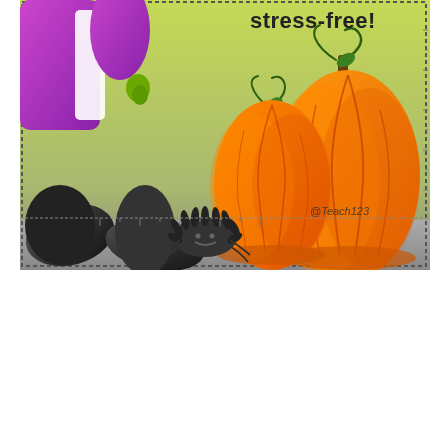[Figure (illustration): Halloween-themed clip art illustration showing a witch or Frankenstein costume (purple jacket, black shoes/feet at bottom left), two orange pumpkins with green stems and curling vines at right, a small black spiky smiling creature (spider or bug) in the center foreground, on a yellow-green to gray gradient background. Text 'stress-free!' appears in dark lettering at the top center-right. Watermark '@Teach123' appears near the pumpkins. The scene is bordered by a dashed/dotted frame border.]